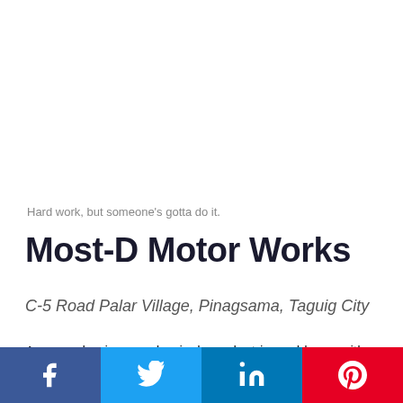Hard work, but someone's gotta do it.
Most-D Motor Works
C-5 Road Palar Village, Pinagsama, Taguig City
Are you having mechanical or electric problems with you shop in…